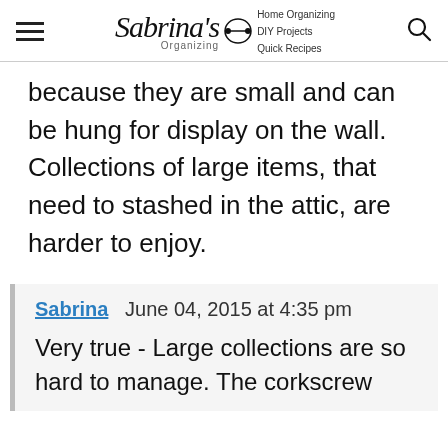Sabrina's Organizing | Home Organizing | DIY Projects | Quick Recipes
because they are small and can be hung for display on the wall. Collections of large items, that need to stashed in the attic, are harder to enjoy.
Sabrina   June 04, 2015 at 4:35 pm
Very true - Large collections are so hard to manage. The corkscrew